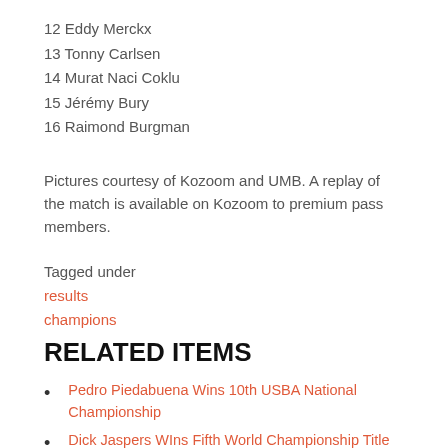12 Eddy Merckx
13 Tonny Carlsen
14 Murat Naci Coklu
15 Jérémy Bury
16 Raimond Burgman
Pictures courtesy of Kozoom and UMB. A replay of the match is available on Kozoom to premium pass members.
Tagged under
results
champions
RELATED ITEMS
Pedro Piedabuena Wins 10th USBA National Championship
Dick Jaspers WIns Fifth World Championship Title
Semih Sayginer wins first World Cup since 2004